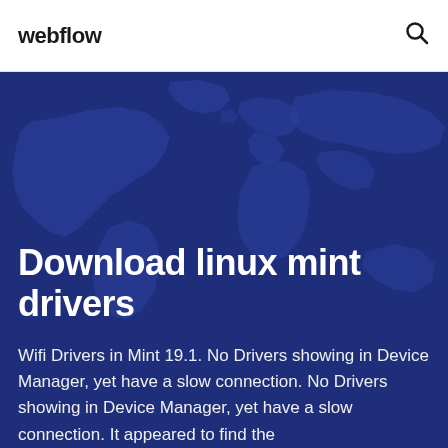webflow
Download linux mint drivers
Wifi Drivers in Mint 19.1. No Drivers showing in Device Manager, yet have a slow connection. No Drivers showing in Device Manager, yet have a slow connection. It appeared to find the